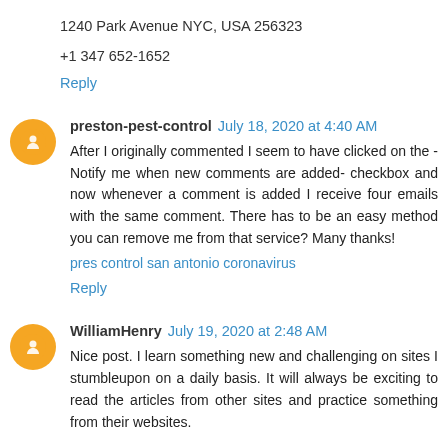1240 Park Avenue NYC, USA 256323
+1 347 652-1652
Reply
preston-pest-control  July 18, 2020 at 4:40 AM
After I originally commented I seem to have clicked on the -Notify me when new comments are added- checkbox and now whenever a comment is added I receive four emails with the same comment. There has to be an easy method you can remove me from that service? Many thanks!
pres control san antonio coronavirus
Reply
WilliamHenry  July 19, 2020 at 2:48 AM
Nice post. I learn something new and challenging on sites I stumbleupon on a daily basis. It will always be exciting to read the articles from other sites and practice something from their websites.